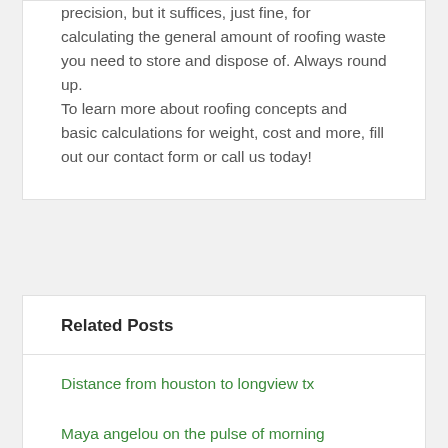precision, but it suffices, just fine, for calculating the general amount of roofing waste you need to store and dispose of. Always round up.
To learn more about roofing concepts and basic calculations for weight, cost and more, fill out our contact form or call us today!
Related Posts
Distance from houston to longview tx
Maya angelou on the pulse of morning meaning